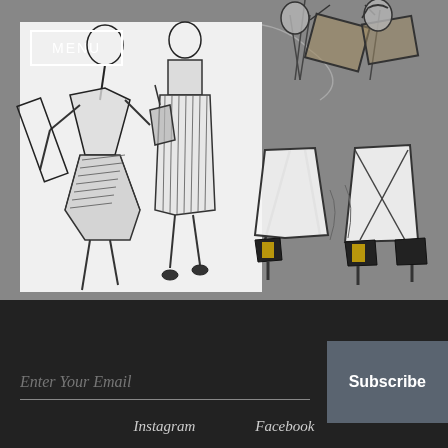[Figure (illustration): Fashion design sketches showing stylized figures with structural garments and accessories. Left panel on white background shows two figures with geometric/angular clothing constructions. Right panel on grey background shows two figures with dramatic poses wearing high-heeled shoes with gold accents.]
MENU
Enter Your Email
Subscribe
Instagram
Facebook